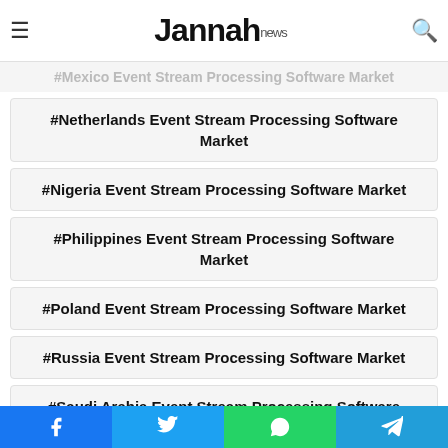Jannah news
#Netherlands Event Stream Processing Software Market
#Nigeria Event Stream Processing Software Market
#Philippines Event Stream Processing Software Market
#Poland Event Stream Processing Software Market
#Russia Event Stream Processing Software Market
#Saudi Arabia Event Stream Processing Software Market
Facebook Twitter WhatsApp Telegram